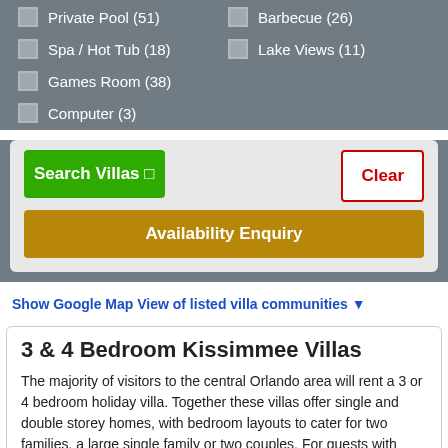Private Pool (51)
Barbecue (26)
Spa / Hot Tub (18)
Lake Views (11)
Games Room (38)
Computer (3)
Search Villas ⊡
Clear
Availability Enquiry
Show Google Map View of listed villa communities ▼
3 & 4 Bedroom Kissimmee Villas
The majority of visitors to the central Orlando area will rent a 3 or 4 bedroom holiday villa. Together these villas offer single and double storey homes, with bedroom layouts to cater for two families, a large single family or two couples. For guests with limited mobility, always check with the owner as to whether there is a ground floor bedroom and